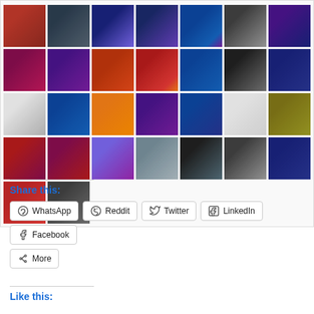[Figure (photo): A grid of concert/live music performance photos arranged in 5 rows and 7 columns. The photos show various musicians and performers on stage with colorful stage lighting in red, blue, purple, orange tones.]
Share this:
WhatsApp
Reddit
Twitter
LinkedIn
Facebook
More
Like this: